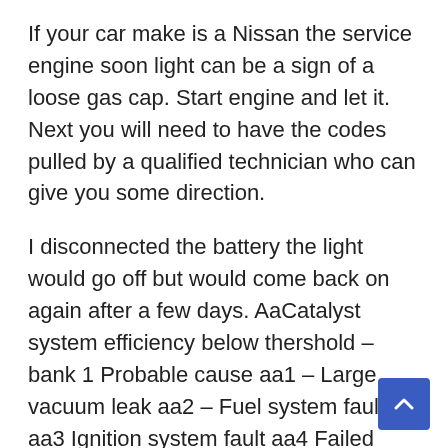If your car make is a Nissan the service engine soon light can be a sign of a loose gas cap. Start engine and let it. Next you will need to have the codes pulled by a qualified technician who can give you some direction.
I disconnected the battery the light would go off but would come back on again after a few days. AaCatalyst system efficiency below thershold – bank 1 Probable cause aa1 – Large vacuum leak aa2 – Fuel system fault aa3 Ignition system fault aa4 Failed bank 1 catalytic converter I dont believe is the large vacuum leak as the car runs get no problem idling or take off. Service Engine Soon brianw Sorry for maybe dumb question but I just got a used 2004 maxima seAnd The service engine soon